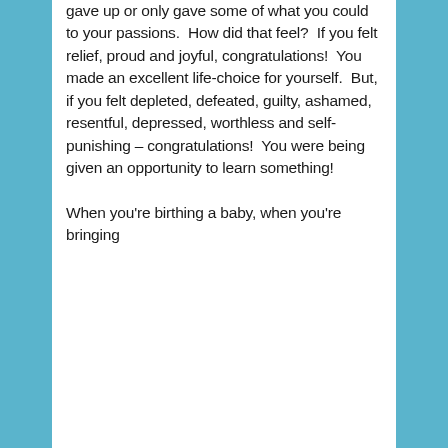gave up or only gave some of what you could to your passions.  How did that feel?  If you felt relief, proud and joyful, congratulations!  You made an excellent life-choice for yourself.  But,  if you felt depleted, defeated, guilty, ashamed, resentful, depressed, worthless and self-punishing – congratulations!  You were being given an opportunity to learn something!
When you're birthing a baby, when you're bringing